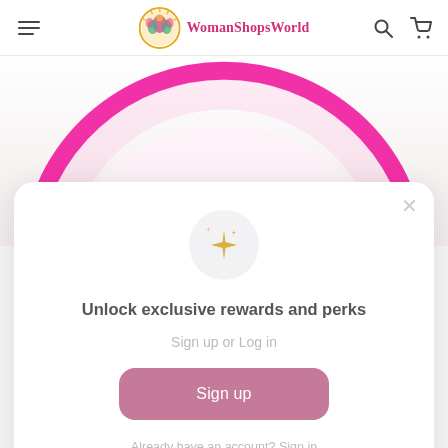[Figure (logo): WomanShopsWorld logo with circular colorful emblem and brand name text in pink]
[Figure (illustration): Pink circular arc/ring decorative element on light beige/white background, partially visible]
[Figure (illustration): Sparkle/star emoji icon in gold inside a light gray circle]
Unlock exclusive rewards and perks
Sign up or Log in
Sign up
Already have an account? Sign in